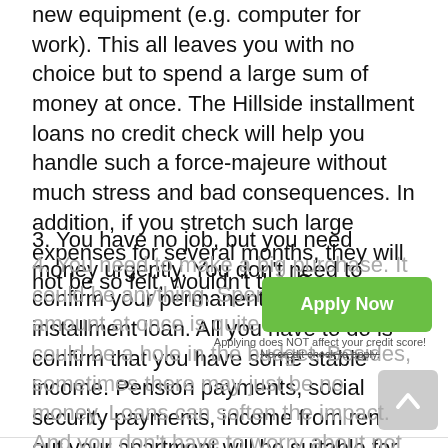new equipment (e.g. computer for work). This all leaves you with no choice but to spend a large sum of money at once. The Hillside installment loans no credit check will help you handle such a force-majeure without much stress and bad consequences. In addition, if you stretch such large expenses for several months, they will not be so felt, wouldn't they?
3. You have no job, but you need money urgently. You don't need to confirm your permanent job to get an installment loan. All you have to do is confirm that you have some stable income. Pension payments, social security payments, income from renting out your apartment will be suitable for this.
4. You need to make a big purchase. It could be anything. Spending a large amount at once is quite difficult. It could be a hole in the budget. Besides, sometimes there may just be no money. Loans can soften the impact. And you don't have to worry about not being given the money for that
[Figure (other): Green 'Apply Now' button overlay with text 'Applying does NOT affect your credit score!' and 'No credit check to apply.' below it, and a scroll-to-top arrow button on the right side.]